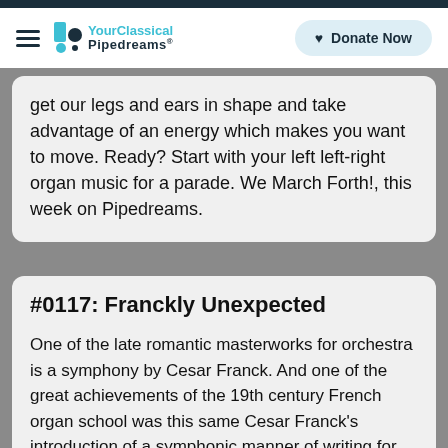YourClassical Pipedreams | Donate Now
get our legs and ears in shape and take advantage of an energy which makes you want to move. Ready? Start with your left left-right organ music for a parade. We March Forth!, this week on Pipedreams.
#0117: Franckly Unexpected
One of the late romantic masterworks for orchestra is a symphony by Cesar Franck. And one of the great achievements of the 19th century French organ school was this same Cesar Franck's introduction of a symphonic manner of writing for the pipe organ. But the Symphonic Organ and Franck's D-minor Symphony are not usually on the same page... that is until our next Pipedreams broadcast when Jane Parker-Smith and Thomas Murray apply their magic to a remarkably effective transcription of